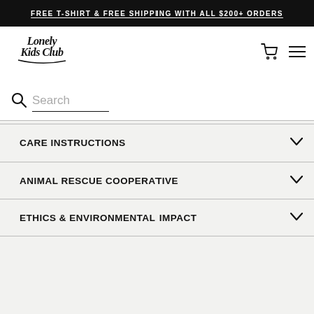FREE T-SHIRT & FREE SHIPPING WITH ALL $200+ ORDERS
[Figure (logo): Lonely Kids Club handwritten script logo]
Search
CARE INSTRUCTIONS
ANIMAL RESCUE COOPERATIVE
ETHICS & ENVIRONMENTAL IMPACT